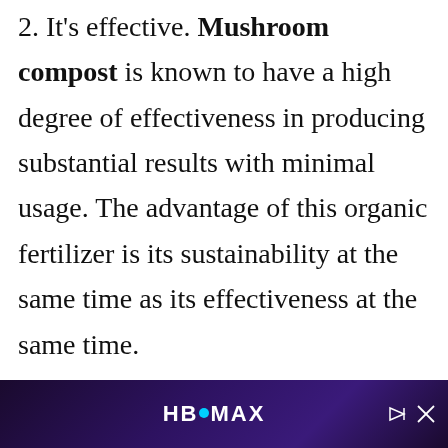2. It's effective. Mushroom compost is known to have a high degree of effectiveness in producing substantial results with minimal usage. The advantage of this organic fertilizer is its sustainability at the same time as its effectiveness at the same time.
3. It's sustainable. Mushroom
[Figure (other): HBO Max advertisement banner with dark purple gradient background, HBO Max logo in white text with a cyan dot, and playback/close controls on the right.]